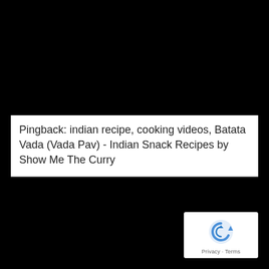Pingback: indian recipe, cooking videos, Batata Vada (Vada Pav) - Indian Snack Recipes by Show Me The Curry
[Figure (logo): reCAPTCHA badge with blue arrow icon and 'Privacy · Terms' text]